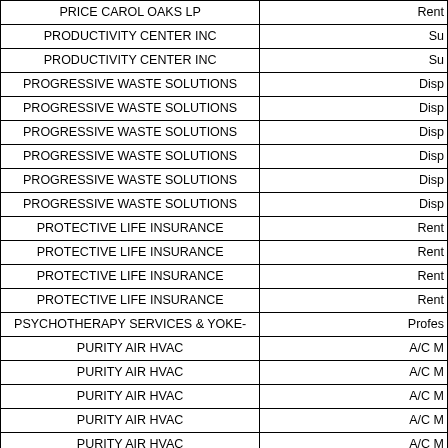| Vendor Name | Category |
| --- | --- |
| PRICE CAROL OAKS LP | Rent |
| PRODUCTIVITY CENTER INC | Su… |
| PRODUCTIVITY CENTER INC | Su… |
| PROGRESSIVE WASTE SOLUTIONS | Disp… |
| PROGRESSIVE WASTE SOLUTIONS | Disp… |
| PROGRESSIVE WASTE SOLUTIONS | Disp… |
| PROGRESSIVE WASTE SOLUTIONS | Disp… |
| PROGRESSIVE WASTE SOLUTIONS | Disp… |
| PROGRESSIVE WASTE SOLUTIONS | Disp… |
| PROTECTIVE LIFE INSURANCE | Rent… |
| PROTECTIVE LIFE INSURANCE | Rent… |
| PROTECTIVE LIFE INSURANCE | Rent… |
| PROTECTIVE LIFE INSURANCE | Rent… |
| PSYCHOTHERAPY SERVICES & YOKE- | Profes… |
| PURITY AIR HVAC | A/C M… |
| PURITY AIR HVAC | A/C M… |
| PURITY AIR HVAC | A/C M… |
| PURITY AIR HVAC | A/C M… |
| PURITY AIR HVAC | A/C M… |
| PURITY AIR HVAC | A/C M… |
| QUANTUM MERIT REALTY & MORTGAGE LLC | Rent… |
| QUEST DIAGNOSTICS INC | Labo… |